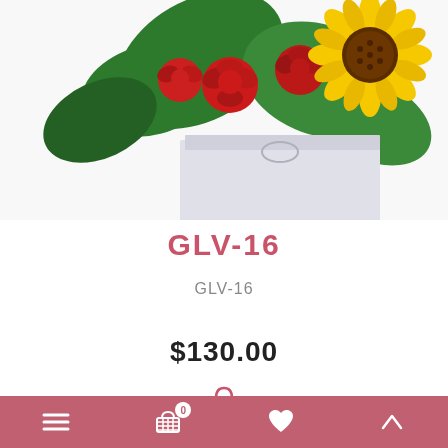[Figure (photo): Floral arrangement with red roses, sunflower, and green leaves in a white square box, cropped at top]
GLV-16
GLV-16
$130.00
[Figure (illustration): Shopping bag icon in pink/rose color]
BUY NOW
Navigation bar with menu, cart (0), heart, and up-arrow icons on pink/rose background